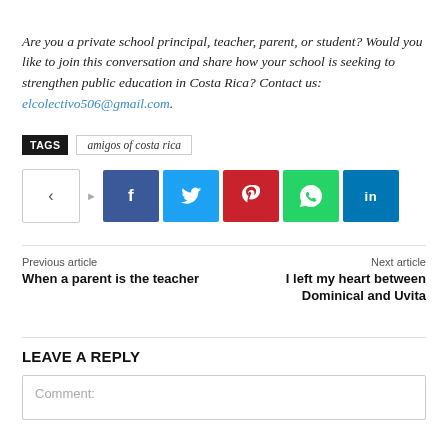Are you a private school principal, teacher, parent, or student? Would you like to join this conversation and share how your school is seeking to strengthen public education in Costa Rica? Contact us: elcolectivo506@gmail.com.
TAGS  amigos of costa rica
[Figure (infographic): Social share buttons: a share icon button, followed by Facebook, Twitter, Pinterest, WhatsApp, and LinkedIn icon buttons]
Previous article: When a parent is the teacher | Next article: I left my heart between Dominical and Uvita
LEAVE A REPLY
Comment: